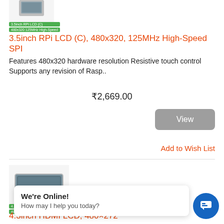[Figure (photo): Top portion of 3.5inch RPi LCD (C) product image (partially visible at top)]
[Figure (other): Two green badge labels: '3.5inch RPi LCD (C)' and '480x320 125MHz High-Speed']
3.5inch RPi LCD (C), 480x320, 125MHz High-Speed SPI
Features 480x320 hardware resolution Resistive touch control Supports any revision of Rasp..
₹2,669.00
View
Add to Wish List
[Figure (photo): 4.3inch HDMI LCD product image showing a flat LCD panel on a stand]
[Figure (other): Two green badge labels: '4.3inch HDMI LCD' and '480x272']
4.3inch HDMI LCD, 480×272
Features 480×272 high resolution Resistive touch control Supports Raspberry Pi...
We're Online! How may I help you today?